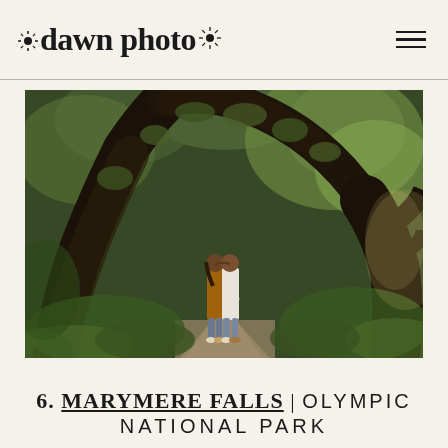dawn photo
[Figure (photo): A couple standing and kissing on a forest path under a dramatic arching moss-covered tree at Marymere Falls, Olympic National Park. Lush green forest surrounds them.]
6. MARYMERE FALLS | OLYMPIC NATIONAL PARK